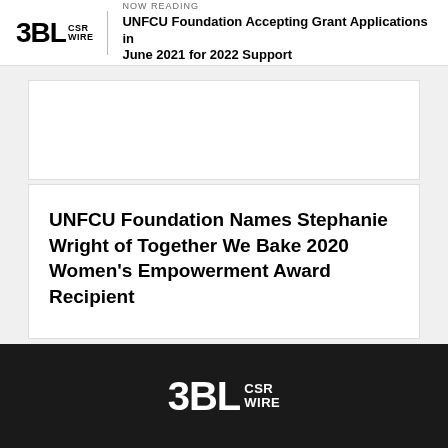NOW READING: UNFCU Foundation Accepting Grant Applications in June 2021 for 2022 Support
[Figure (other): Empty white card placeholder at top]
UNFCU Foundation Names Stephanie Wright of Together We Bake 2020 Women's Empowerment Award Recipient
3BL CSR WIRE